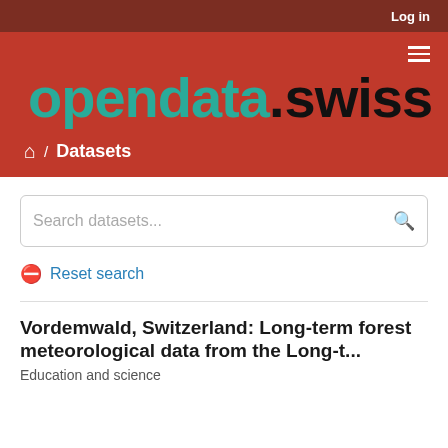Log in
opendata.swiss
Datasets
Search datasets...
Reset search
Vordemwald, Switzerland: Long-term forest meteorological data from the Long-t...
Education and science